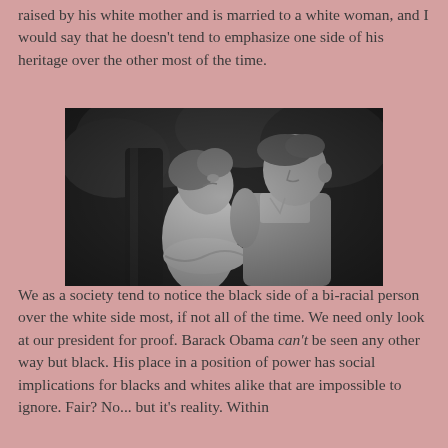raised by his white mother and is married to a white woman, and I would say that he doesn't tend to emphasize one side of his heritage over the other most of the time.
[Figure (photo): Black and white photograph of a man and woman facing each other closely, appearing to be about to kiss, with a tree trunk visible in the background.]
We as a society tend to notice the black side of a bi-racial person over the white side most, if not all of the time. We need only look at our president for proof. Barack Obama can't be seen any other way but black. His place in a position of power has social implications for blacks and whites alike that are impossible to ignore. Fair? No... but it's reality. Within